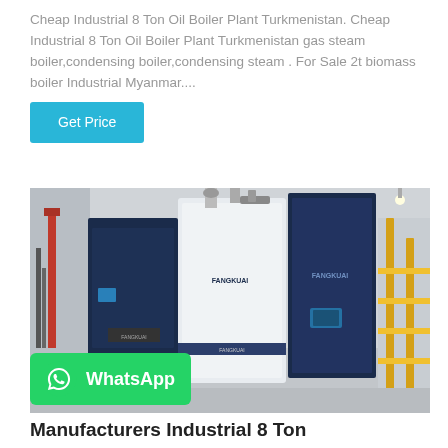Cheap Industrial 8 Ton Oil Boiler Plant Turkmenistan. Cheap Industrial 8 Ton Oil Boiler Plant Turkmenistan gas steam boiler,condensing boiler,condensing steam . For Sale 2t biomass boiler Industrial Myanmar....
[Figure (photo): Industrial boiler equipment room showing large navy-blue and white vertical boiler units with pipes and connections, yellow scaffolding on the right side, in a concrete industrial facility.]
Manufacturers Industrial 8 Ton